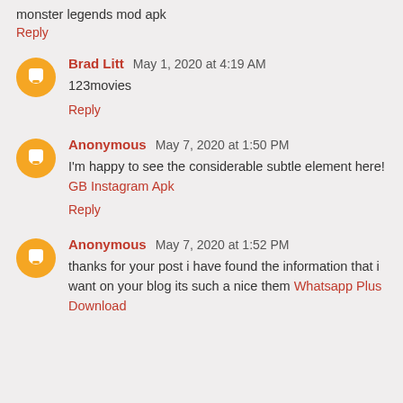monster legends mod apk
Reply
Brad Litt May 1, 2020 at 4:19 AM
123movies
Reply
Anonymous May 7, 2020 at 1:50 PM
I'm happy to see the considerable subtle element here! GB Instagram Apk
Reply
Anonymous May 7, 2020 at 1:52 PM
thanks for your post i have found the information that i want on your blog its such a nice them Whatsapp Plus Download